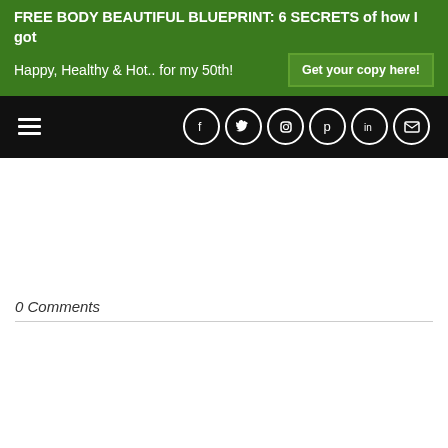FREE BODY BEAUTIFUL BLUEPRINT: 6 SECRETS of how I got Happy, Healthy & Hot.. for my 50th! Get your copy here!
[Figure (screenshot): Black navigation bar with hamburger menu icon on the left and social media icons (Facebook, Twitter, Instagram, Pinterest, LinkedIn, Email) on the right]
0 Comments